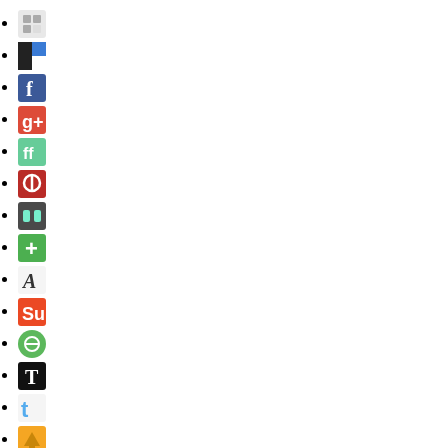[social share icon 1]
[social share icon 2]
[Facebook icon]
[Google+ icon]
[social share icon 5]
[Quora icon]
[social share icon 7]
[green plus icon]
[social share icon 9]
[StumbleUpon icon]
[social share icon 11]
[Tynt T icon]
[Twitter icon]
[download icon]
[b icon]
[Reddit icon]
Filed under: Photos, The Last Supper
Hamburg 22 October 2010
Posted by Steve on Sunday, October 31, 20105 responses so far